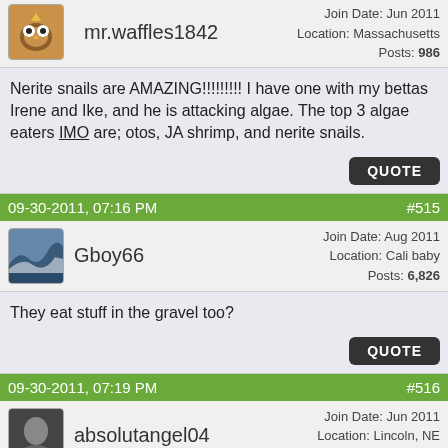Join Date: Jun 2011
Location: Massachusetts
Posts: 986
[Figure (photo): Avatar icon for mr.waffles1842 - cartoon owl character]
mr.waffles1842
Nerite snails are AMAZING!!!!!!!!! I have one with my bettas Irene and Ike, and he is attacking algae. The top 3 algae eaters IMO are; otos, JA shrimp, and nerite snails.
QUOTE
09-30-2011, 07:16 PM   #515
[Figure (photo): Avatar photo for Gboy66 - ocean wave]
Gboy66
Join Date: Aug 2011
Location: Cali baby
Posts: 6,826
They eat stuff in the gravel too?
QUOTE
09-30-2011, 07:19 PM   #516
[Figure (photo): Avatar photo for absolutangel04]
absolutangel04
Join Date: Jun 2011
Location: Lincoln, NE
Posts: 8,885
Quote: